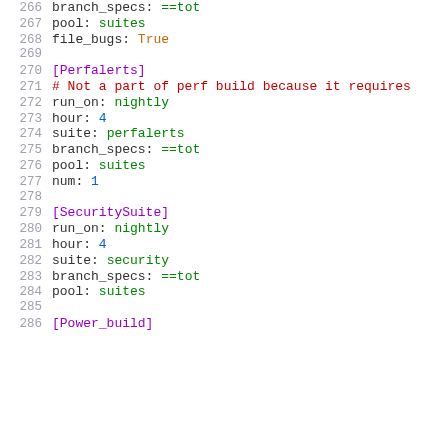266  branch_specs: ==tot
267  pool: suites
268  file_bugs: True
269
270  [Perfalerts]
271  # Not a part of perf build because it requires
272  run_on: nightly
273  hour: 4
274  suite: perfalerts
275  branch_specs: ==tot
276  pool: suites
277  num: 1
278
279  [SecuritySuite]
280  run_on: nightly
281  hour: 4
282  suite: security
283  branch_specs: ==tot
284  pool: suites
285
286  [Power_build]